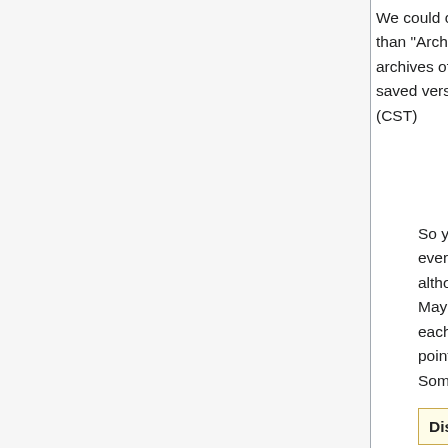We could consider naming the archive "Version1" rather than "Archive1" because it is feasible that we will have archives of talk pages that are not associtiated with the saved version. Matt Innis (Talk) 18:58, 20 February 2007 (CST)
So you think the talk page should be archived after every approved version? That might be a good idea, although this might result in very short archives? Maybe it is best to not have the archives linked to each version but have a visible marker to mark the points in the discussion that each archive occurred. Something along the lines of the following:
Discussion for Version 1.2